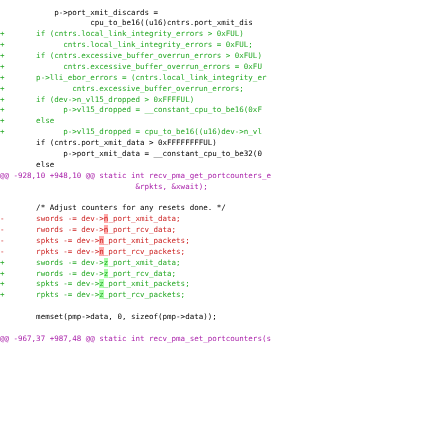[Figure (screenshot): Code diff screenshot showing C source code changes with green added lines, red removed lines, and purple diff hunk headers. The code modifies counter fields related to port statistics in a Linux kernel driver.]